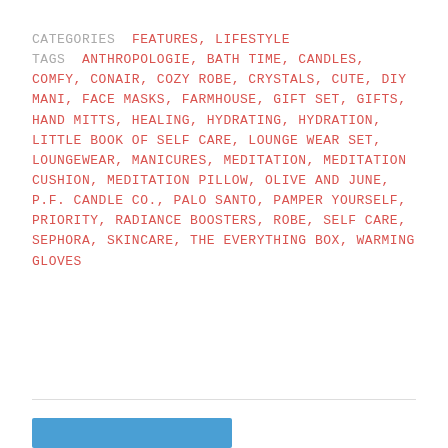CATEGORIES  FEATURES, LIFESTYLE
TAGS  ANTHROPOLOGIE, BATH TIME, CANDLES, COMFY, CONAIR, COZY ROBE, CRYSTALS, CUTE, DIY MANI, FACE MASKS, FARMHOUSE, GIFT SET, GIFTS, HAND MITTS, HEALING, HYDRATING, HYDRATION, LITTLE BOOK OF SELF CARE, LOUNGE WEAR SET, LOUNGEWEAR, MANICURES, MEDITATION, MEDITATION CUSHION, MEDITATION PILLOW, OLIVE AND JUNE, P.F. CANDLE CO., PALO SANTO, PAMPER YOURSELF, PRIORITY, RADIANCE BOOSTERS, ROBE, SELF CARE, SEPHORA, SKINCARE, THE EVERYTHING BOX, WARMING GLOVES